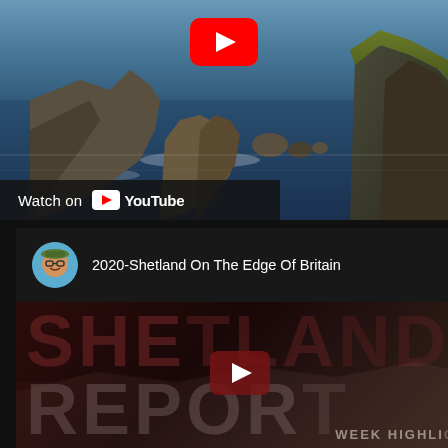[Figure (screenshot): YouTube video thumbnail showing rocky coastal seascape with large rock formations in blue ocean water, with a red YouTube play button overlay at top center]
Watch on YouTube
[Figure (screenshot): YouTube video embed showing title '2020-Shetland On The Edge Of Britain' with user avatar, and thumbnail showing 'SHETLAND REPORT' text overlay in dark red tones with YouTube play button]
2020-Shetland On The Edge Of Britain